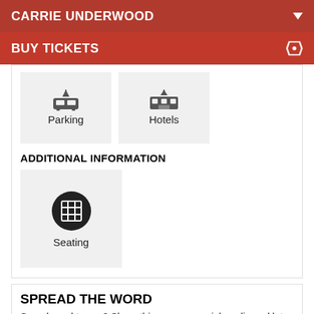CARRIE UNDERWOOD
BUY TICKETS
[Figure (illustration): Parking icon with upward arrow]
[Figure (illustration): Hotels icon with upward arrow]
ADDITIONAL INFORMATION
[Figure (illustration): Seating chart icon - black circle with grid symbol]
SPREAD THE WORD
Sound good to you? Share this page on social media and let your
You know the drill, websites need cookies to make them work. Details of how we do it here.
Got it!